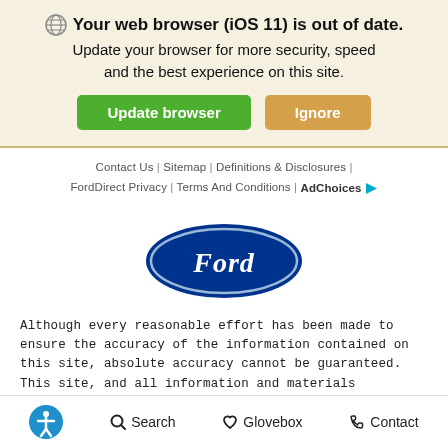Your web browser (iOS 11) is out of date. Update your browser for more security, speed and the best experience on this site.
[Figure (other): Update browser green button and Ignore orange button]
Contact Us | Sitemap | Definitions & Disclosures | FordDirect Privacy | Terms And Conditions | AdChoices
[Figure (logo): Ford oval logo — dark blue ellipse with cursive Ford wordmark in white]
Although every reasonable effort has been made to ensure the accuracy of the information contained on this site, absolute accuracy cannot be guaranteed. This site, and all information and materials appearing on it, are presented to the user "as is" without warranty of any kind, either express or implied. All vehicles are subject to prior sale. Prices include all costs to be paid by a consumer, except for
Accessibility  Search  Glovebox  Contact